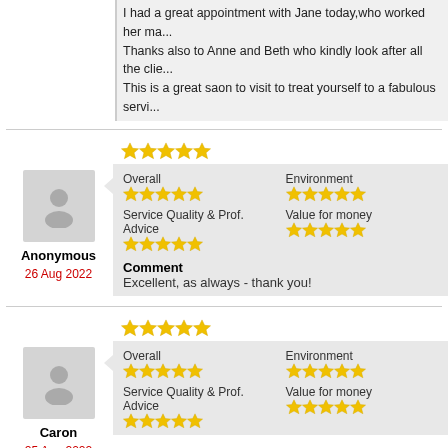I had a great appointment with Jane today,who worked her ma... Thanks also to Anne and Beth who kindly look after all the clie... This is a great saon to visit to treat yourself to a fabulous servi...
Anonymous
26 Aug 2022
Overall ★★★★★ Environment ★★★★★ Service Quality & Prof. Advice ★★★★★ Value for money ★★★★★
Comment
Excellent, as always - thank you!
Caron
25 Aug 2022
Overall ★★★★★ Environment ★★★★★ Service Quality & Prof. Advice ★★★★★ Value for money ★★★★★